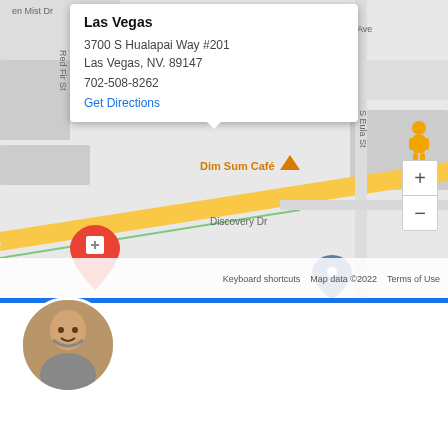[Figure (screenshot): Google Maps screenshot showing Las Vegas location at 3700 S Hualapai Way #201 with info popup, map labels including Dim Sum Café, Discovery Dr, W Katie Ave, Resort at the Lakes Apartments, Aristocrat Technologies Incorporated, zoom controls, pegman icon, and copyright footer.]
Las Vegas
3700 S Hualapai Way #201
Las Vegas, NV. 89147
702-508-8262
Get Directions
Robert Ratliff from RE/MAX Excellence
How can we help? We're here for you!
Reply to Robert Ratliff
Chat ⚡ by Drift